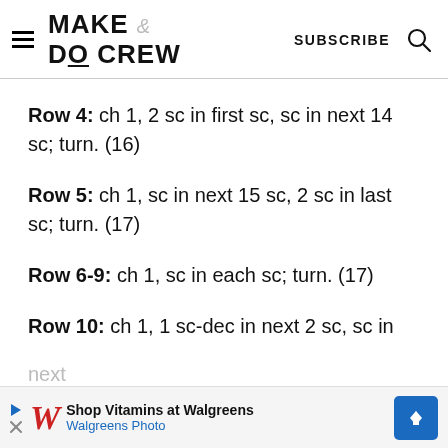MAKE & DO CREW | SUBSCRIBE
Row 4: ch 1, 2 sc in first sc, sc in next 14 sc; turn. (16)
Row 5: ch 1, sc in next 15 sc, 2 sc in last sc; turn. (17)
Row 6-9: ch 1, sc in each sc; turn. (17)
Row 10: ch 1, 1 sc-dec in next 2 sc, sc in next
[Figure (other): Walgreens advertisement banner: Shop Vitamins at Walgreens, Walgreens Photo]